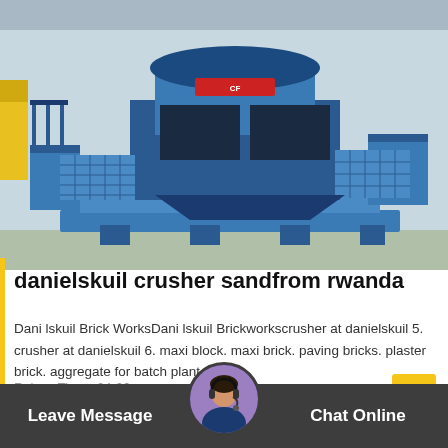[Figure (photo): Large blue industrial crusher/sand making machine on a factory floor, with metal platforms and railings. The machine is predominantly blue with a large cylindrical top unit.]
danielskuil crusher sandfrom rwanda
Dani lskuil Brick WorksDani lskuil Brickworkscrusher at danielskuil 5. crusher at danielskuil 6. maxi block. maxi brick. paving bricks. plaster brick. aggregate for batch plant…
Relase Time : 04-06